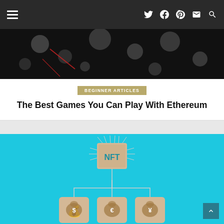Navigation bar with hamburger menu and social icons (Twitter, Facebook, Pinterest, Email, Search)
[Figure (photo): Dark background image with scattered glowing orbs/coins, red accents visible]
BEGINNER ARTICLES
The Best Games You Can Play With Ethereum
[Figure (photo): Cyan/blue background with wooden tiles: top tile labeled NFT connected by circuit lines to three lower tiles each showing a money bag with currency symbols (dollar, euro, yen)]